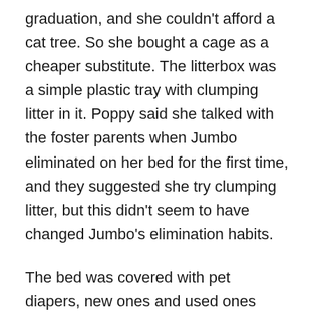graduation, and she couldn't afford a cat tree. So she bought a cage as a cheaper substitute. The litterbox was a simple plastic tray with clumping litter in it. Poppy said she talked with the foster parents when Jumbo eliminated on her bed for the first time, and they suggested she try clumping litter, but this didn't seem to have changed Jumbo's elimination habits.
The bed was covered with pet diapers, new ones and used ones putting together, giving out an unpleasant smell of urine. Poppy said that she was tired, and she was already fed up with washing her bedding every day, so she decided to throw all dirty bedding away and cover the bare bed with pet diapers so she didn't need to clean up her bed day